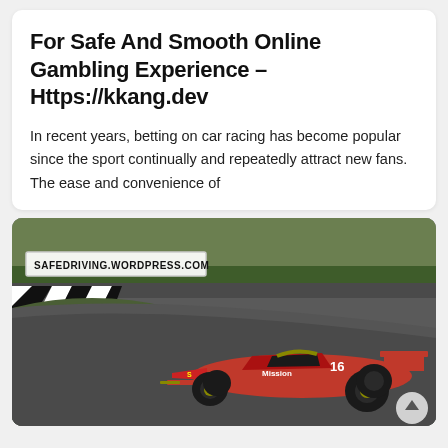For Safe And Smooth Online Gambling Experience – Https://kkang.dev
In recent years, betting on car racing has become popular since the sport continually and repeatedly attract new fans. The ease and convenience of
[Figure (photo): A red Ferrari Formula 1 race car (number 16) on a racing circuit track, with green and grey tarmac visible. Watermark: SAFEDRIVING.WORDPRESS.COM]